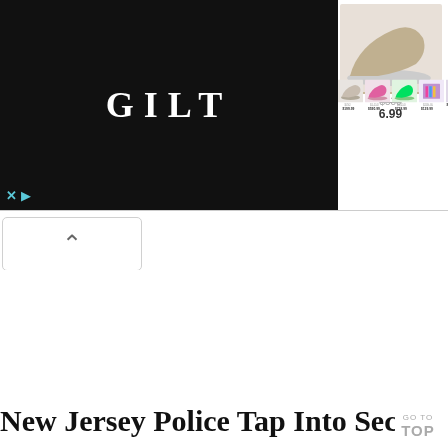[Figure (screenshot): GILT brand advertisement banner showing logo on black background on the left and a horizontal scrolling product strip with shoes and fashion items on the right. Products show original prices crossed out (e.g. $530, $792, $1,150, $1,150, $209.95) and sale prices ($6.99 partial, $199.99, $590.99, $728.99, $129.99, $1... partial). An X and play button icon appear at lower left of banner.]
[Figure (screenshot): A scroll-up chevron button (upward caret symbol) inside a rounded rectangle, indicating ability to collapse or scroll the ad.]
New Jersey Police Tap Into Secret Stat